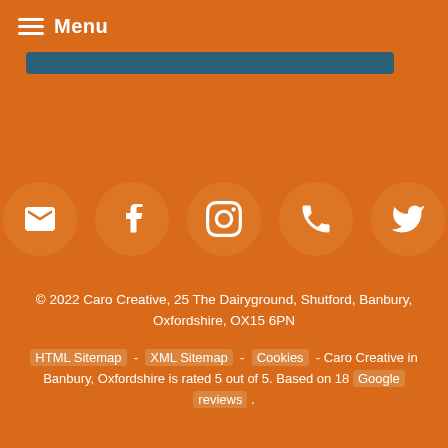Menu
[Figure (other): Teal/dark blue rounded rectangle bar element]
[Figure (other): Five social media icon circles (email, facebook, instagram, phone, twitter) on orange background]
© 2022 Caro Creative, 25 The Dairyground, Shutford, Banbury, Oxfordshire, OX15 6PN
HTML Sitemap - XML Sitemap - Cookies - Caro Creative in Banbury, Oxfordshire is rated 5 out of 5. Based on 18 Google reviews .